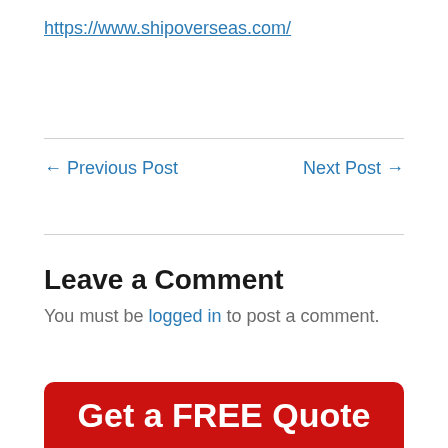https://www.shipoverseas.com/
← Previous Post    Next Post →
Leave a Comment
You must be logged in to post a comment.
Get a FREE Quote